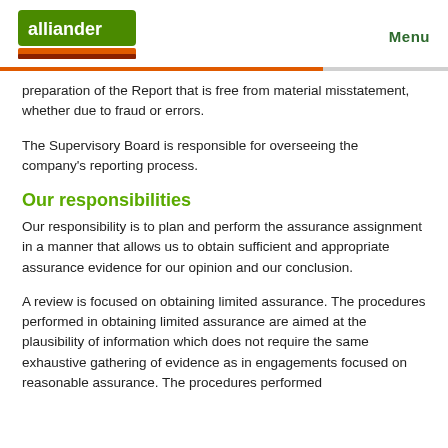alliander | Menu
preparation of the Report that is free from material misstatement, whether due to fraud or errors.
The Supervisory Board is responsible for overseeing the company's reporting process.
Our responsibilities
Our responsibility is to plan and perform the assurance assignment in a manner that allows us to obtain sufficient and appropriate assurance evidence for our opinion and our conclusion.
A review is focused on obtaining limited assurance. The procedures performed in obtaining limited assurance are aimed at the plausibility of information which does not require the same exhaustive gathering of evidence as in engagements focused on reasonable assurance. The procedures performed